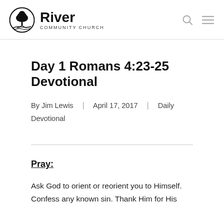River Community Church
Day 1 Romans 4:23-25 Devotional
By Jim Lewis | April 17, 2017 | Daily Devotional
Pray:
Ask God to orient or reorient you to Himself. Confess any known sin. Thank Him for His